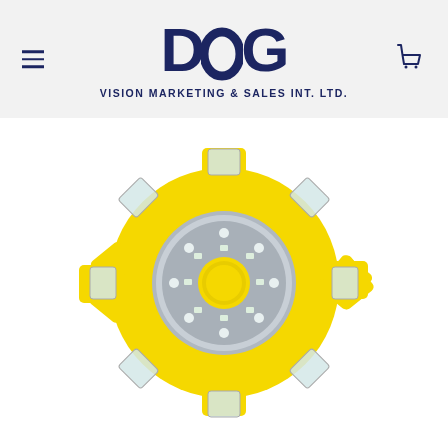[Figure (logo): DCG Vision Marketing & Sales Int. Ltd. logo with large bold navy letters D, C, G and company name subtitle below]
[Figure (photo): Yellow LED road safety flare/flashing light device, circular gear-shaped body with multiple LED pods around the perimeter and center LED cluster, photographed from above on white background]